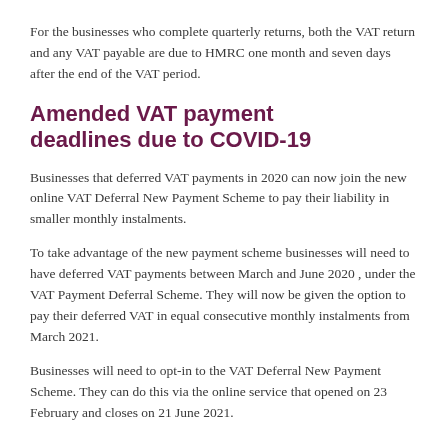For the businesses who complete quarterly returns, both the VAT return and any VAT payable are due to HMRC one month and seven days after the end of the VAT period.
Amended VAT payment deadlines due to COVID-19
Businesses that deferred VAT payments in 2020 can now join the new online VAT Deferral New Payment Scheme to pay their liability in smaller monthly instalments.
To take advantage of the new payment scheme businesses will need to have deferred VAT payments between March and June 2020 , under the VAT Payment Deferral Scheme. They will now be given the option to pay their deferred VAT in equal consecutive monthly instalments from March 2021.
Businesses will need to opt-in to the VAT Deferral New Payment Scheme. They can do this via the online service that opened on 23 February and closes on 21 June 2021.